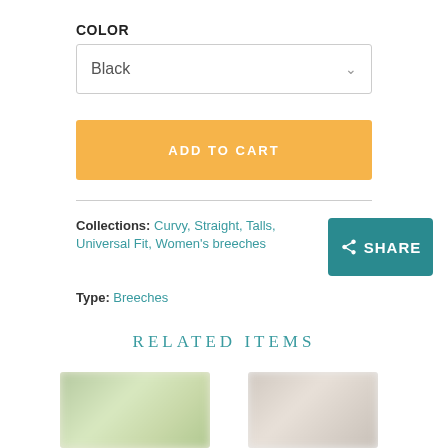COLOR
Black
ADD TO CART
Collections: Curvy, Straight, Talls, Universal Fit, Women's breeches
Type: Breeches
SHARE
RELATED ITEMS
[Figure (photo): Blurred product image on left]
[Figure (photo): Blurred product image on right]